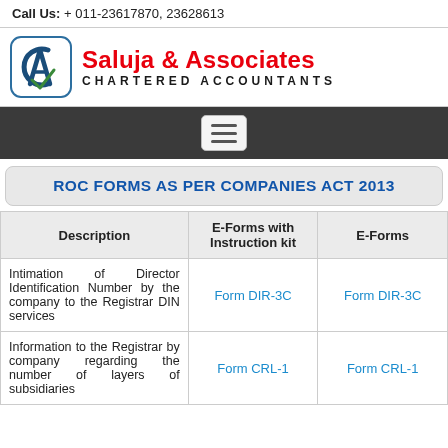Call Us: + 011-23617870, 23628613
[Figure (logo): CA logo (Chartered Accountant emblem) with 'Saluja & Associates — Chartered Accountants' branding]
[Figure (screenshot): Dark navigation bar with hamburger menu button]
ROC FORMS AS PER COMPANIES ACT 2013
| Description | E-Forms with Instruction kit | E-Forms |
| --- | --- | --- |
| Intimation of Director Identification Number by the company to the Registrar DIN services | Form DIR-3C | Form DIR-3C |
| Information to the Registrar by company regarding the number of layers of subsidiaries | Form CRL-1 | Form CRL-1 |